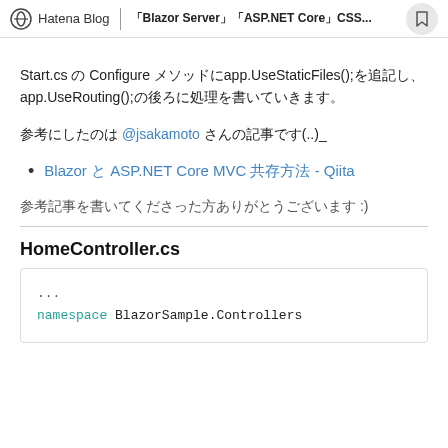Hatena Blog | 「Blazor Server」「ASP.NET Core」CSS...
Start.cs の Configure メソッドにapp.UseStaticFiles();を追記し、app.UseRouting();の後ろに処理を書いていきます。
参考にしたのは @jsakamoto さんの記事です(..)_
Blazor と ASP.NET Core MVC 共存方法 - Qiita
参考記事を書いてくださった方ありがとうございます :)
HomeController.cs
...
namespace BlazorSample.Controllers